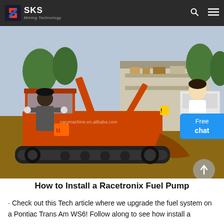SKS Mining Technology
[Figure (photo): A man operating a small orange mini excavator outdoors, with machinery and a shed in the background. Watermark text 'carymachine.en.alibaba.com' visible in the center.]
How to Install a Racetronix Fuel Pump
Check out this Tech article where we upgrade the fuel system on a Pontiac Trans Am WS6! Follow along to see how install a